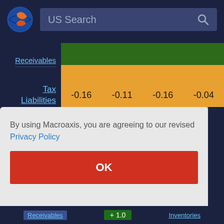[Figure (screenshot): Macroaxis website navigation bar with logo and US Search search box]
| Receivables |  |  |  |  |
| Tax Liabilities | -0.16 | -0.11 | -0.16 | -0.04 |
Click cells to compare fundamentals
By using Macroaxis, you are agreeing to our revised Privacy Policy
OK
Receivables + 1.0 Inventories